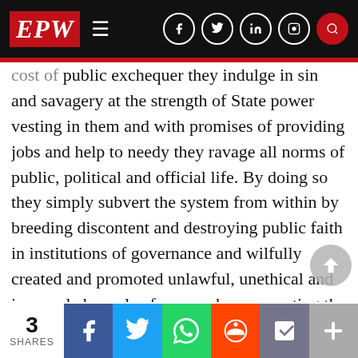EPW
cost of public exchequer they indulge in sin and savagery at the strength of State power vesting in them and with promises of providing jobs and help to needy they ravage all norms of public, political and official life. By doing so they simply subvert the system from within by breeding discontent and destroying public faith in institutions of governance and wilfully created and promoted unlawful, unethical and immoral channels of approach, ...prompting the vast majority to hate the system. Visibly they are more dangerous than those challenging the system from outside who can be identified and taken to task. But the
3 SHARES